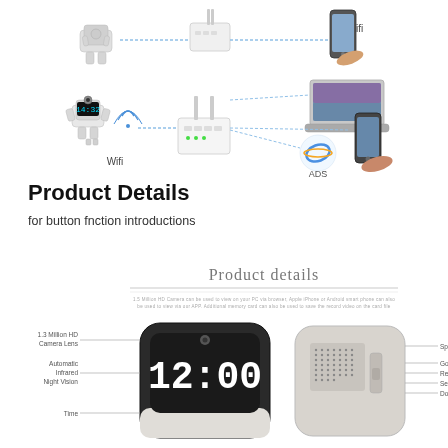[Figure (infographic): WiFi network diagram showing a robot camera connecting via WiFi to a router, which connects to a smartphone (top), and a second robot camera with display showing 14:32 connecting via WiFi to a router, which connects via ADS to a laptop and a smartphone]
Product Details
for button fnction introductions
[Figure (infographic): Product details section header with decorative lines, showing two product images: a clock camera showing 12:00 with labels for 1.3 Million HD Camera Lens, Automatic Infrared Night Vision, Time; and a back panel showing Speaker, Go, Reset of Clock, Set, Down labels]